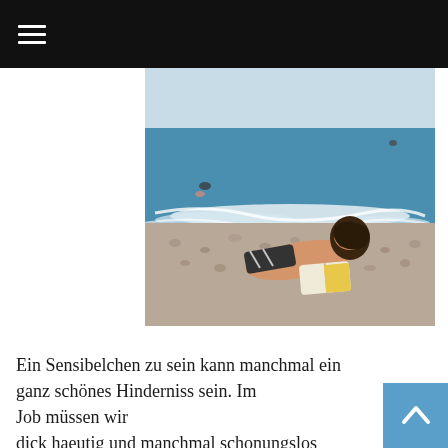☰
[Figure (photo): A young woman with dark hair lying on a pebbly beach reading a book. The sea with waves is visible in the background, and a swimmer can be seen in the water.]
Ein Sensibelchen zu sein kann manchmal ein ganz schönes Hinderniss sein. Im Job müssen wir dick haeutig und manchmal schonungslos zur Sache gehen, wir müssen laut sein um Aufmerksamkeit auf unsere Arbeit zu lenken und Anerkennung zu bekommen und um